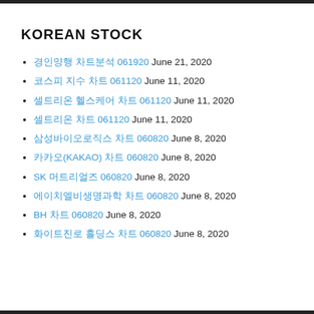KOREAN STOCK
경인양행 차트분석 061920 June 21, 2020
코스피 지수 차트 061120 June 11, 2020
셀트리온 헬스케어 차트 061120 June 11, 2020
셀트리온 차트 061120 June 11, 2020
삼성바이오로직스 차트 060820 June 8, 2020
카카오(KAKAO) 차트 060820 June 8, 2020
SK 머트리얼즈 060820 June 8, 2020
에이치엘비생명과학 차트 060820 June 8, 2020
BH 차트 060820 June 8, 2020
화이트진로 홀딩스 차트 060820 June 8, 2020